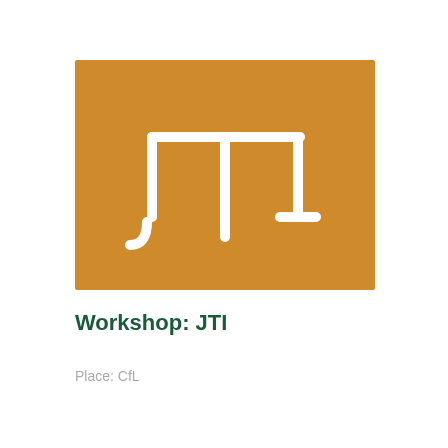[Figure (logo): JTI logo: white stylized JTI letterform on an amber/golden-orange rectangular background]
Workshop: JTI
Place: CfL